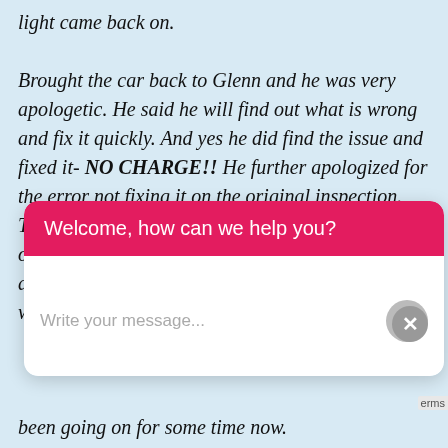light came back on. Brought the car back to Glenn and he was very apologetic. He said he will find out what is wrong and fix it quickly. And yes he did find the issue and fixed it- NO CHARGE!! He further apologized for the error not fixing it on the original inspection. This was incredible as I would not expect this and offered to still pay for the service. Glenn refused and said they should have looked further and this was their fault.
[Figure (screenshot): Chat widget overlay with red header saying 'Welcome, how can we help you?' and white body with 'Write your message...' placeholder input and a gray send button. A gray X close button appears at the top right of the widget.]
been going on for some time now.